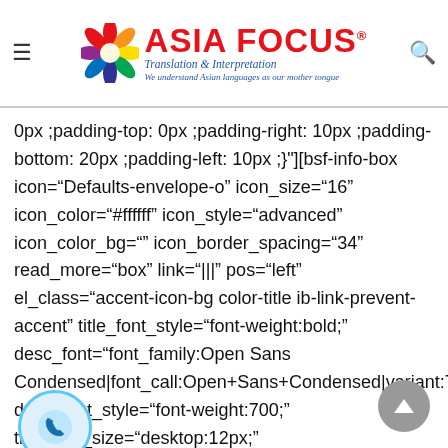ASIA FOCUS Translation & Interpretation — We understand Asian languages as our mother tongue
0px ;padding-top: 0px ;padding-right: 10px ;padding-bottom: 20px ;padding-left: 10px ;}"][bsf-info-box icon="Defaults-envelope-o" icon_size="16" icon_color="#ffffff" icon_style="advanced" icon_color_bg="" icon_border_spacing="34" read_more="box" link="|||" pos="left" el_class="accent-icon-bg color-title ib-link-prevent-accent" title_font_style="font-weight:bold;" desc_font="font_family:Open Sans Condensed|font_call:Open+Sans+Condensed|variant:700" desc_font_style="font-weight:700;" title_font_size="desktop:12px;" title_font_line_height="desktop:20px;"